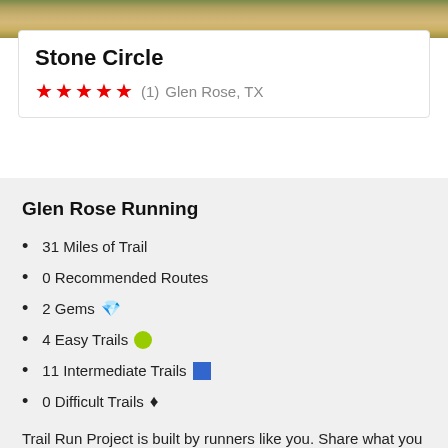[Figure (photo): Outdoor/nature photo strip at top of page showing grassy landscape]
Stone Circle
★★★★★ (1)  Glen Rose, TX
Glen Rose Running
31 Miles of Trail
0 Recommended Routes
2 Gems 💎
4 Easy Trails 🟢
11 Intermediate Trails 🟦
0 Difficult Trails ♦
Trail Run Project is built by runners like you. Share what you know about this area!
Share Your Local Tips!